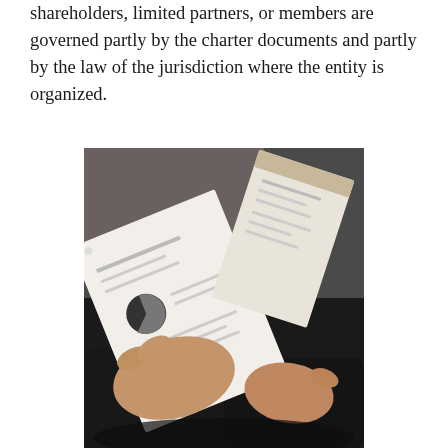shareholders, limited partners, or members are governed partly by the charter documents and partly by the law of the jurisdiction where the entity is organized.
[Figure (photo): Two people in business attire holding and reviewing documents/papers together, viewed from above. The image shows hands holding white papers with some printed content including what appears to be a chart, against a dark background.]
Business Discussions